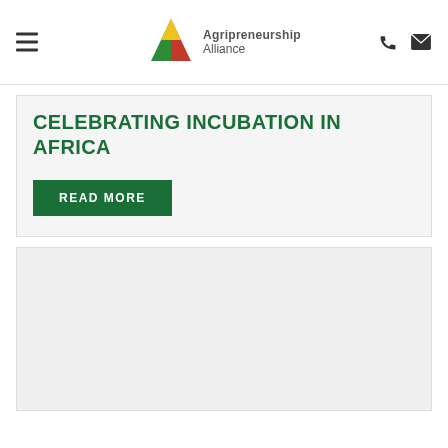Agripreneurship Alliance
CELEBRATING INCUBATION IN AFRICA
READ MORE
[Figure (other): Lower content area placeholder box]